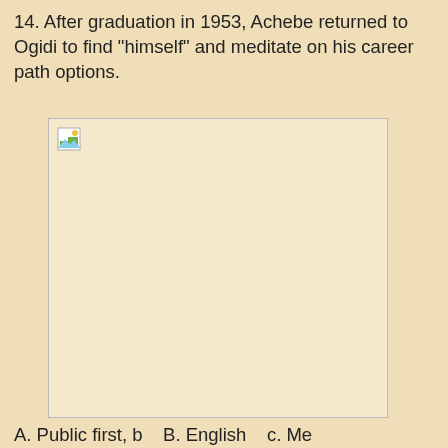14. After graduation in 1953, Achebe returned to Ogidi to find "himself" and meditate on his career path options.
[Figure (photo): Broken/missing image placeholder representing a photograph related to Achebe returning to Ogidi.]
A. Public first, b...  B. English...  c. Me...